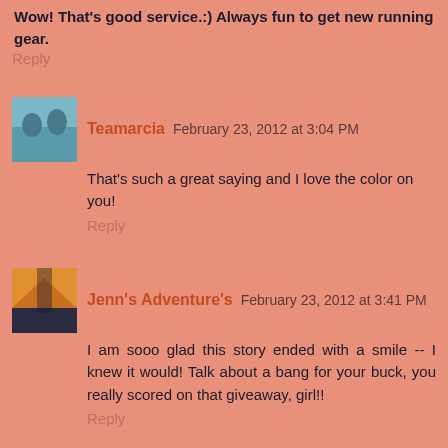Wow! That's good service.:) Always fun to get new running gear.
Reply
Teamarcia  February 23, 2012 at 3:04 PM
That's such a great saying and I love the color on you!
Reply
Jenn's Adventure's  February 23, 2012 at 3:41 PM
I am sooo glad this story ended with a smile -- I knew it would! Talk about a bang for your buck, you really scored on that giveaway, girl!!
Reply
Holly  February 23, 2012 at 5:30 PM
I love it! Their clothes are so awesome and so comfy!!!
Reply